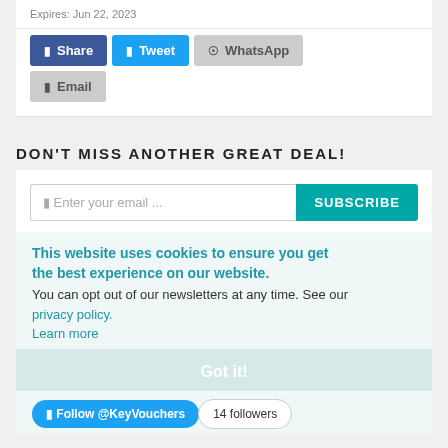Expires: Jun 22, 2023
[Figure (screenshot): Social share buttons: Share (Facebook), Tweet (Twitter), WhatsApp, Email]
DON'T MISS ANOTHER GREAT DEAL!
[Figure (screenshot): Email subscription widget with input field and SUBSCRIBE button, overlaid by cookie consent banner with privacy policy link, Got it! button, and Follow @KeyVouchers Twitter button with 14 followers count]